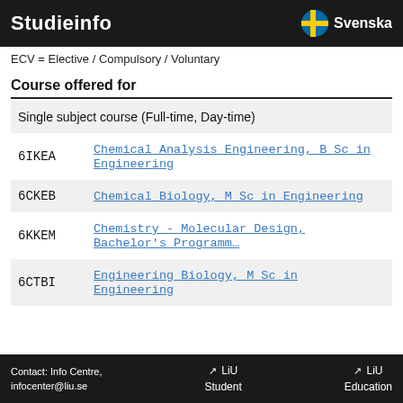Studieinfo  Svenska
ECV = Elective / Compulsory / Voluntary
Course offered for
| Code | Programme |
| --- | --- |
| Single subject course (Full-time, Day-time) |  |
| 6IKEA | Chemical Analysis Engineering, B Sc in Engineering |
| 6CKEB | Chemical Biology, M Sc in Engineering |
| 6KKEM | Chemistry - Molecular Design, Bachelor's Programme |
| 6CTBI | Engineering Biology, M Sc in Engineering |
Contact: Info Centre, infocenter@liu.se   LiU Student   LiU Education